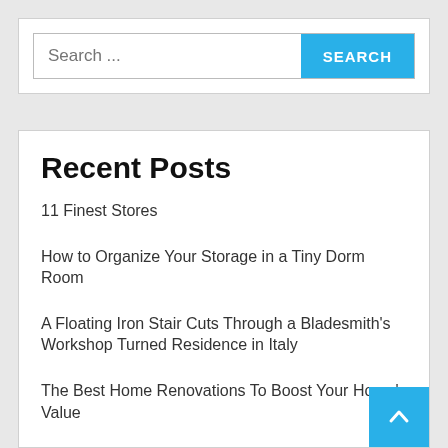[Figure (screenshot): Search bar with text input placeholder 'Search ...' and a blue 'SEARCH' button]
Recent Posts
11 Finest Stores
How to Organize Your Storage in a Tiny Dorm Room
A Floating Iron Stair Cuts Through a Bladesmith's Workshop Turned Residence in Italy
The Best Home Renovations To Boost Your Home's Value
A Rustic Neoclassical Interior Filled With Charact…